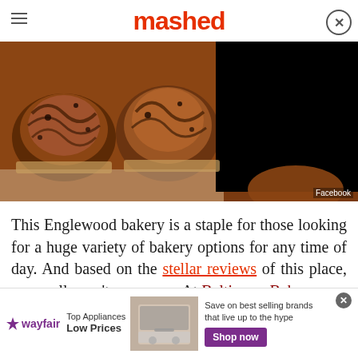mashed
[Figure (photo): Overhead shot of chocolate babka loaves in golden baking pans on parchment paper; right side has a black rectangle overlay. Facebook credit watermark.]
This Englewood bakery is a staple for those looking for a huge variety of bakery options for any time of day. And based on the stellar reviews of this place, you really can't go wrong. At Baltimore Bakery, you can enjoy savory pastries
[Figure (infographic): Wayfair advertisement banner: Top Appliances Low Prices, image of stove/range, Save on best selling brands that live up to the hype, Shop now button.]